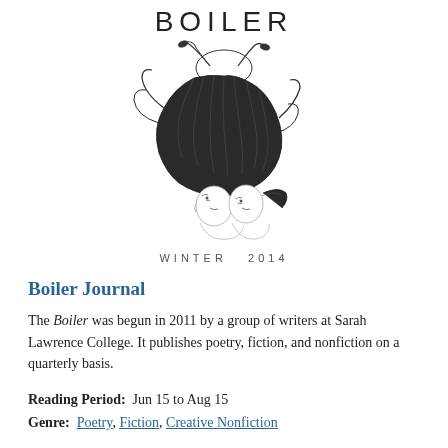BOILER
[Figure (illustration): Ink drawing of two figures with large flowing hair intertwined, one figure appears inverted above the other, in a delicate line-art style]
WINTER  2014
Boiler Journal
The Boiler was begun in 2011 by a group of writers at Sarah Lawrence College. It publishes poetry, fiction, and nonfiction on a quarterly basis.
Reading Period:  Jun 15 to Aug 15
Genre:  Poetry, Fiction, Creative Nonfiction